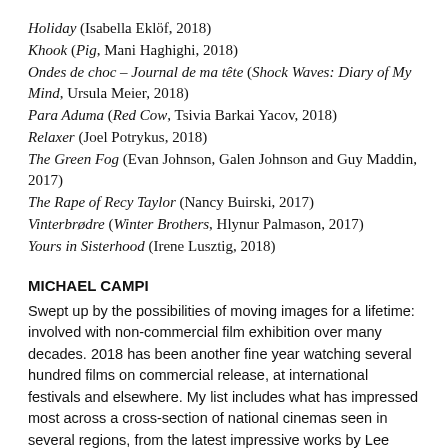Holiday (Isabella Eklöf, 2018)
Khook (Pig, Mani Haghighi, 2018)
Ondes de choc – Journal de ma tête (Shock Waves: Diary of My Mind, Ursula Meier, 2018)
Para Aduma (Red Cow, Tsivia Barkai Yacov, 2018)
Relaxer (Joel Potrykus, 2018)
The Green Fog (Evan Johnson, Galen Johnson and Guy Maddin, 2017)
The Rape of Recy Taylor (Nancy Buirski, 2017)
Vinterbrødre (Winter Brothers, Hlynur Palmason, 2017)
Yours in Sisterhood (Irene Lusztig, 2018)
MICHAEL CAMPI
Swept up by the possibilities of moving images for a lifetime: involved with non-commercial film exhibition over many decades. 2018 has been another fine year watching several hundred films on commercial release, at international festivals and elsewhere. My list includes what has impressed most across a cross-section of national cinemas seen in several regions, from the latest impressive works by Lee Chang-dong and Nuri Bilge Ceylan to fresh works by emerging filmmakers.